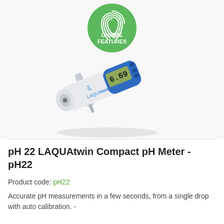[Figure (photo): Product photo of LAQUAtwin Compact pH Meter pH22 — a pen-shaped device in white and blue with LCD display showing 6.69, positioned diagonally. Above it is a green circular badge with fingerprint icon reading UNIQUE FEATURES.]
pH 22 LAQUAtwin Compact pH Meter - pH22
Product code: pH22
Accurate pH measurements in a few seconds, from a single drop with auto calibration. -